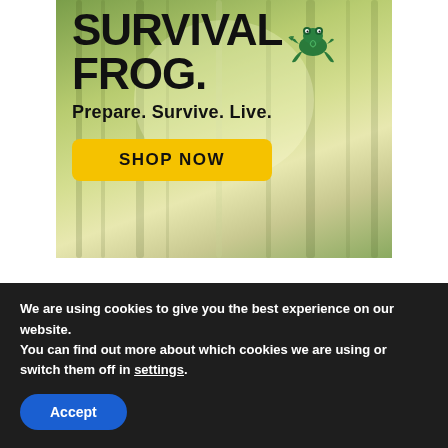[Figure (illustration): Survival Frog advertisement banner with forest background. Shows brand name 'SURVIVAL FROG.' with frog logo, tagline 'Prepare. Survive. Live.' and a yellow 'SHOP NOW' button.]
We are using cookies to give you the best experience on our website.
You can find out more about which cookies we are using or switch them off in settings.
Accept